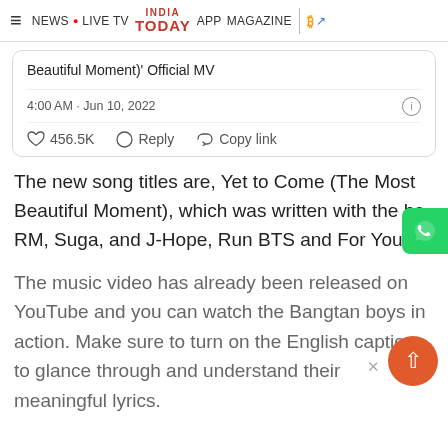≡  NEWS • LIVE TV  INDIA TODAY  APP  MAGAZINE  | ₿
[Figure (screenshot): Partial tweet card showing tweet text 'Beautiful Moment)' Official MV', timestamp '4:00 AM · Jun 10, 2022', and interaction buttons: heart 456.5K, Reply, Copy link]
The new song titles are, Yet to Come (The Most Beautiful Moment), which was written with the he RM, Suga, and J-Hope, Run BTS and For Youth.
The music video has already been released on YouTube and you can watch the Bangtan boys in action. Make sure to turn on the English captions to glance through and understand their meaningful lyrics.